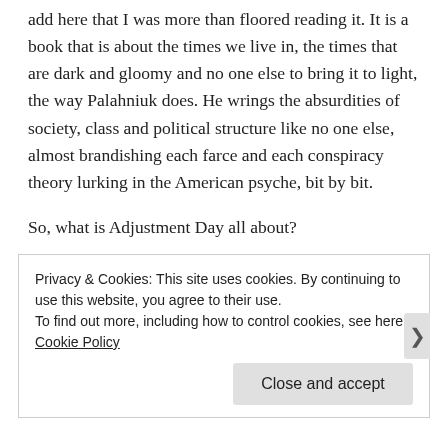add here that I was more than floored reading it. It is a book that is about the times we live in, the times that are dark and gloomy and no one else to bring it to light, the way Palahniuk does. He wrings the absurdities of society, class and political structure like no one else, almost brandishing each farce and each conspiracy theory lurking in the American psyche, bit by bit.
So, what is Adjustment Day all about?
Adjustment Day is about the rabbit hole of our times – the deep, dark abyss that sucks everything right in, with no
Privacy & Cookies: This site uses cookies. By continuing to use this website, you agree to their use.
To find out more, including how to control cookies, see here: Cookie Policy

Close and accept